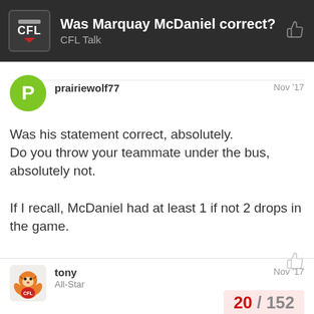Was Marquay McDaniel correct? CFL Talk
prairiewolf77
Nov '17

Was his statement correct, absolutely.
Do you throw your teammate under the bus, absolutely not.

If I recall, McDaniel had at least 1 if not 2 drops in the game.
tony
All-Star
Nov '17

20 / 152